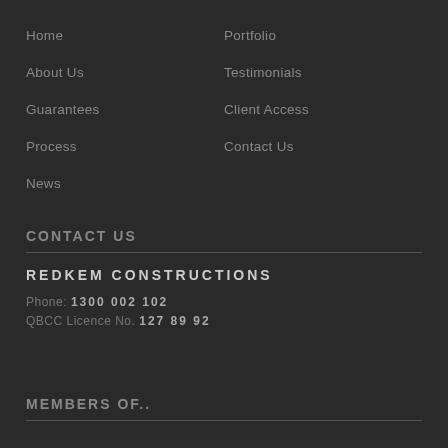Home
Portfolio
About Us
Testimonials
Guarantees
Client Access
Process
Contact Us
News
CONTACT US
REDKEM CONSTRUCTIONS
Phone: 1300 002 102
QBCC Licence No. 127 89 92
MEMBERS OF..